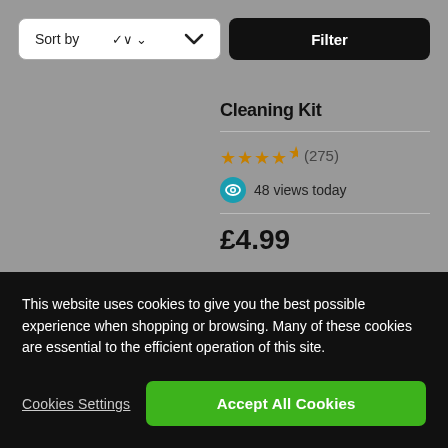[Figure (screenshot): Sort by dropdown and Filter button controls]
Cleaning Kit
★★★★★ (275)
48 views today
£4.99
Only £4.74 with Motoring Club premium
This website uses cookies to give you the best possible experience when shopping or browsing. Many of these cookies are essential to the efficient operation of this site.
Cookies Settings
Accept All Cookies